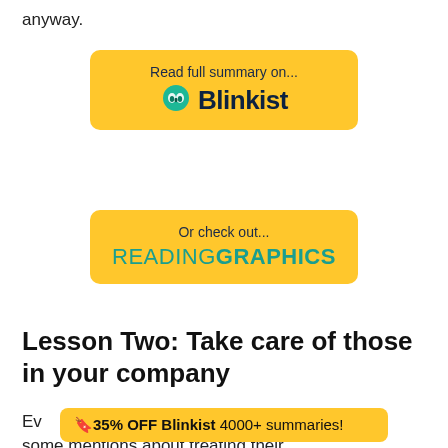anyway.
[Figure (logo): Yellow button with 'Read full summary on... Blinkist' text and Blinkist logo (green drop/owl icon)]
[Figure (logo): Yellow button with 'Or check out... READINGRAPHICS' text]
Lesson Two: Take care of those in your company
Every mentions about treating their
[Figure (infographic): Yellow banner overlay: '🔖35% OFF Blinkist 4000+ summaries!']